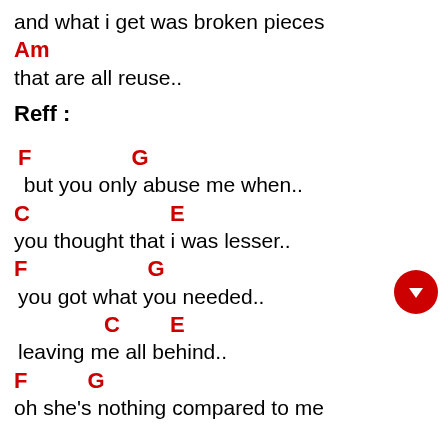and what i get was broken pieces
Am
that are all reuse..
Reff :
F    G
but you only abuse me when..
C         E
you thought that i was lesser..
F         G
you got what you needed..
C   E
leaving me all behind..
F    G
oh she's nothing compared to me